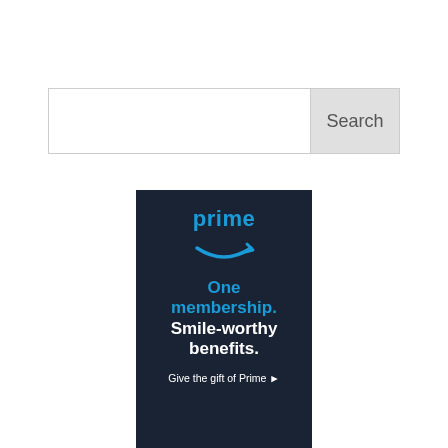[Figure (screenshot): Search bar with text input field on the left and a grey 'Search' button on the right]
[Figure (infographic): Amazon Prime advertisement banner with dark navy background. Shows 'prime' logo text in blue with Amazon smile arrow beneath it, then text 'One membership. Smile-worthy benefits.' in blue and white, followed by a 'Give the gift of Prime ▸' call-to-action link in white.]